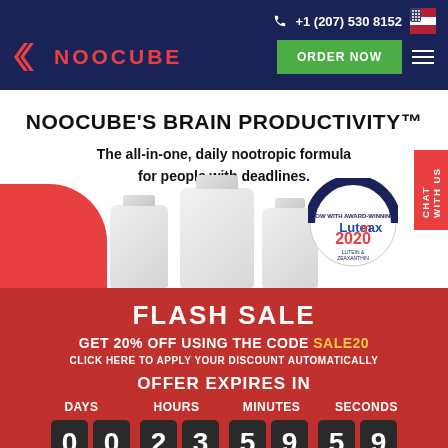+1 (207) 530 8152
[Figure (logo): NooCube logo with red arrow icon and red text NOOCUBE on dark navy background]
NOOCUBE'S BRAIN PRODUCTIVITY™
The all-in-one, daily nootropic formula for people with deadlines.
[Figure (photo): Three white supplement bottles with caps, on a white background with a red curved element on the left. Award badge on the right reading NOW WITH AWARD-WINNING Lutemax 2020]
FLASH SALE
GET 20% OFF USING THE CODE SALE20
CLICK HERE TO APPLY YOUR DISCOUNT AUTOMATICALLY
OFFER EXPIRES IN
DAYS HOURS MINUTES SECONDS 0 0 2 3 5 9 5 9